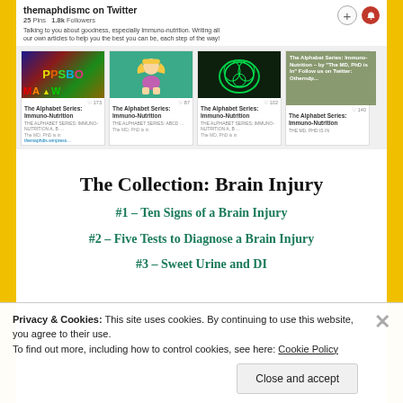[Figure (screenshot): Twitter profile page for themaphdismc showing profile stats (25 Pins, 1.8k Followers), bio text about goodness and immuno-nutrition, and four Twitter card thumbnails for 'The Alphabet Series: Immuno-Nutrition']
The Collection: Brain Injury
#1 – Ten Signs of a Brain Injury
#2 – Five Tests to Diagnose a Brain Injury
#3 – Sweet Urine and DI
Privacy & Cookies: This site uses cookies. By continuing to use this website, you agree to their use.
To find out more, including how to control cookies, see here: Cookie Policy
Close and accept